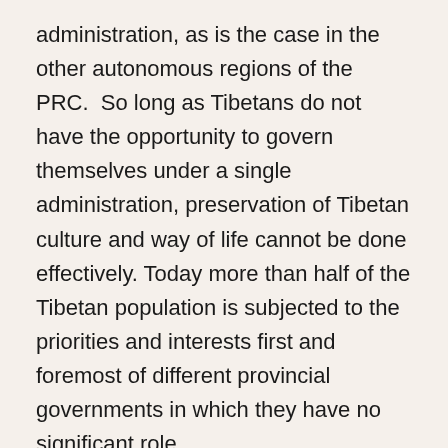administration, as is the case in the other autonomous regions of the PRC.  So long as Tibetans do not have the opportunity to govern themselves under a single administration, preservation of Tibetan culture and way of life cannot be done effectively. Today more than half of the Tibetan population is subjected to the priorities and interests first and foremost of different provincial governments in which they have no significant role.
As explained in the Memorandum, the Tibetan people can only genuinely exercise regional national autonomy if they can have their own autonomous government, people's congress and other organs of self-government with jurisdiction